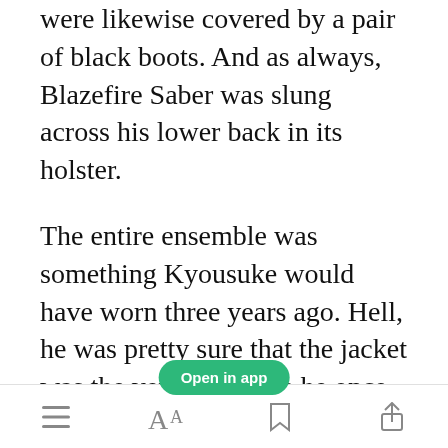were likewise covered by a pair of black boots. And as always, Blazefire Saber was slung across his lower back in its holster.
The entire ensemble was something Kyousuke would have worn three years ago. Hell, he was pretty sure that the jacket was the very same one he once favored. He'd asked his mother to dispose of them some time ago, but it seemed that she'd
[Figure (other): Green 'Open in app' button overlay on text]
toolbar with menu, font size, bookmark, and share icons